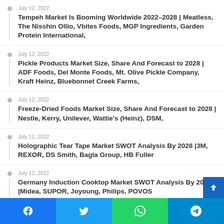July 12, 2022 — Tempeh Market Is Booming Worldwide 2022-2028 | Meatless, The Nisshin Ollio, Vbites Foods, MGP Ingredients, Garden Protein International,
July 12, 2022 — Pickle Products Market Size, Share And Forecast to 2028 | ADF Foods, Del Monte Foods, Mt. Olive Pickle Company, Kraft Heinz, Bluebonnet Creek Farms,
July 12, 2022 — Freeze-Dried Foods Market Size, Share And Forecast to 2028 | Nestle, Kerry, Unilever, Wattie's (Heinz), DSM,
July 12, 2022 — Holographic Tear Tape Market SWOT Analysis By 2028 |3M, REXOR, DS Smith, Bagla Group, HB Fuller
July 12, 2022 — Germany Induction Cooktop Market SWOT Analysis By 2028 |Midea, SUPOR, Joyoung, Philips, POVOS